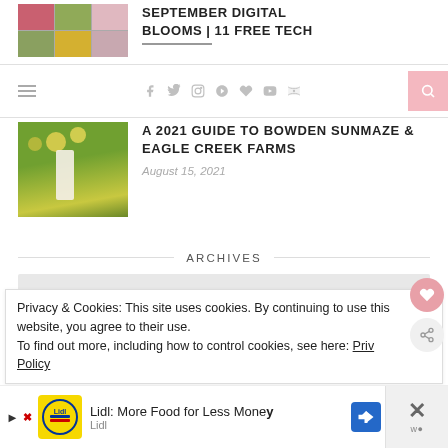[Figure (photo): Grid of flower photos (roses, sunflowers, floral arrangements) - partially visible top]
SEPTEMBER DIGITAL BLOOMS | 11 FREE TECH WALLPAPERS
[Figure (infographic): Navigation bar with hamburger menu, social icons (facebook, twitter, instagram, pinterest, heart, youtube, rss), and pink search button]
[Figure (photo): Woman in white dress standing in sunflower field]
A 2021 GUIDE TO BOWDEN SUNMAZE & EAGLE CREEK FARMS
August 15, 2021
ARCHIVES
Privacy & Cookies: This site uses cookies. By continuing to use this website, you agree to their use.
To find out more, including how to control cookies, see here: Privacy Policy
[Figure (infographic): Advertisement banner: Lidl: More Food for Less Money with Lidl logo and navigation arrow]
Lidl